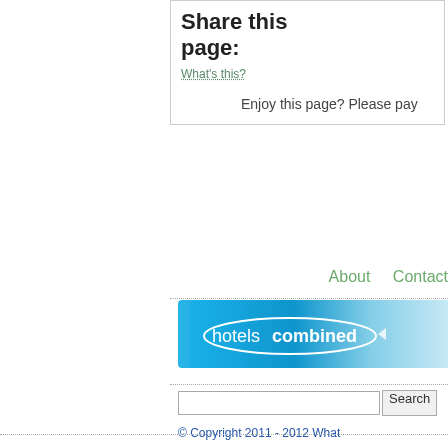Share this page:
What's this?
Enjoy this page? Please pay...
About   Contact
[Figure (logo): HotelsCombined banner advertisement with blue gradient background and white logo text]
Search
© Copyright 2011 - 2012 What...